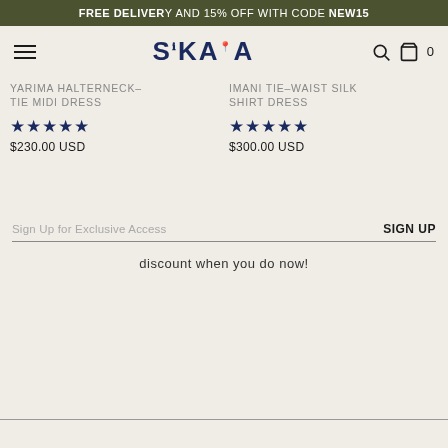FREE DELIVERY AND 15% OFF WITH CODE NEW15
[Figure (logo): SIKAA brand logo in dark navy blue with stylized lettering]
YARIMA HALTERNECK– TIE MIDI DRESS ★★★★★ $230.00 USD
IMANI TIE–WAIST SILK SHIRT DRESS ★★★★★ $300.00 USD
Sign Up for Exclusive Access  SIGN UP
discount when you do now!